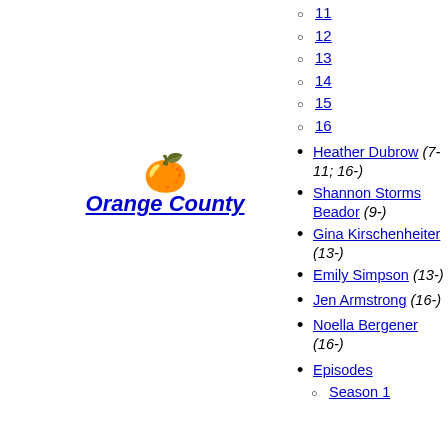[Figure (logo): Orange County logo: orange emoji above italic bold underlined link text 'Orange County']
11
12
13
14
15
16
Heather Dubrow (7-11; 16-)
Shannon Storms Beador (9-)
Gina Kirschenheiter (13-)
Emily Simpson (13-)
Jen Armstrong (16-)
Noella Bergener (16-)
Most recent cast
Episodes
Season 1